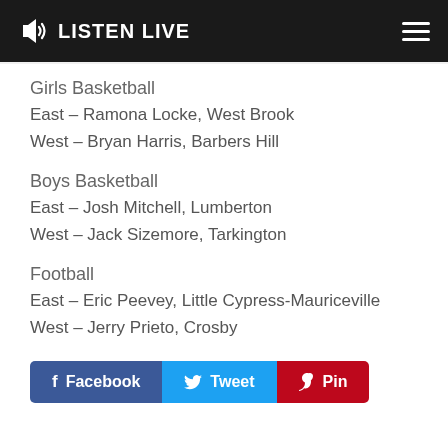LISTEN LIVE
Girls Basketball
East – Ramona Locke, West Brook
West – Bryan Harris, Barbers Hill
Boys Basketball
East – Josh Mitchell, Lumberton
West – Jack Sizemore, Tarkington
Football
East – Eric Peevey, Little Cypress-Mauriceville
West – Jerry Prieto, Crosby